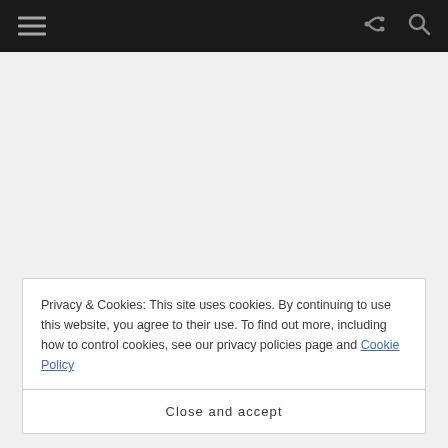Navigation bar with hamburger menu, share icon, and search icon
Privacy & Cookies: This site uses cookies. By continuing to use this website, you agree to their use. To find out more, including how to control cookies, see our privacy policies page and Cookie Policy
Close and accept